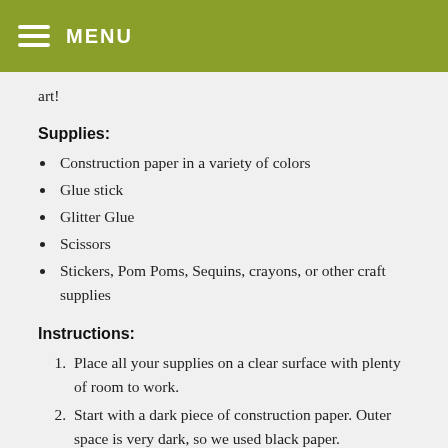MENU
art!
Supplies:
Construction paper in a variety of colors
Glue stick
Glitter Glue
Scissors
Stickers, Pom Poms, Sequins, crayons, or other craft supplies
Instructions:
Place all your supplies on a clear surface with plenty of room to work.
Start with a dark piece of construction paper. Outer space is very dark, so we used black paper.
Cut out some circles in various colors for planets!